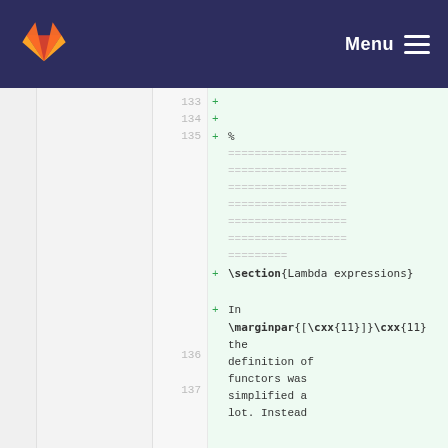Menu
133 +
134 +
135 + %
[redacted lines]
136 + \section{Lambda expressions}
137 + In \marginpar{[\cxx{11}]}\cxx{11} the definition of functors was simplified a lot. Instead